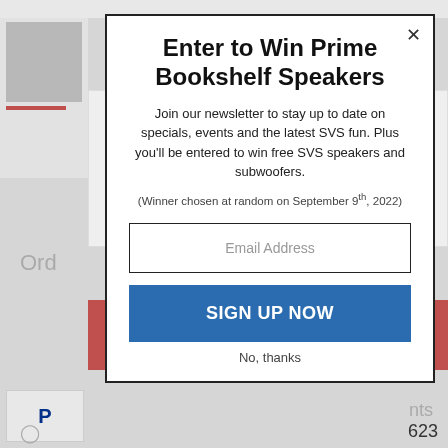Enter to Win Prime Bookshelf Speakers
Join our newsletter to stay up to date on specials, events and the latest SVS fun. Plus you'll be entered to win free SVS speakers and subwoofers.
(Winner chosen at random on September 9th, 2022)
Email Address
SIGN UP NOW
No, thanks